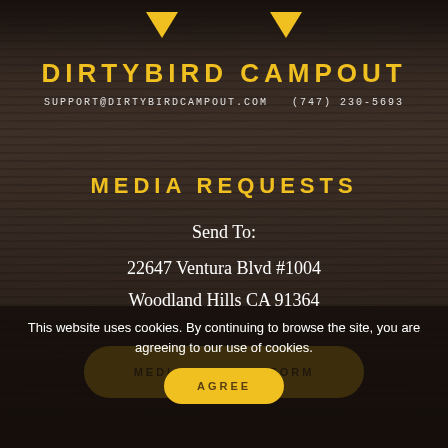DIRTYBIRD CAMPOUT
SUPPORT@DIRTYBIRDCAMPOUT.COM  (747) 230-5693
MEDIA REQUESTS
Send To:
22647 Ventura Blvd #1004
Woodland Hills CA 91364
MEDIA REQUEST FORM
This website uses cookies. By continuing to browse the site, you are agreeing to our use of cookies.
AGREE